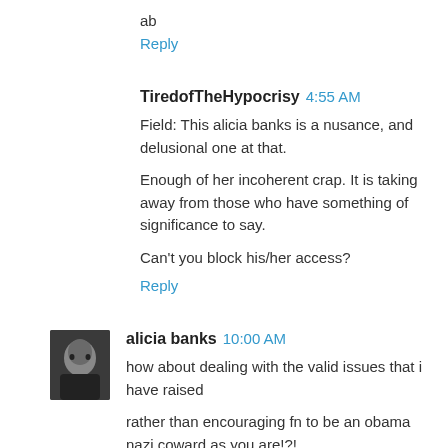ab
Reply
TiredofTheHypocrisy 4:55 AM
Field: This alicia banks is a nusance, and delusional one at that.
Enough of her incoherent crap. It is taking away from those who have something of significance to say.
Can't you block his/her access?
Reply
alicia banks 10:00 AM
how about dealing with the valid issues that i have raised
rather than encouraging fn to be an obama nazi coward as you are!?!